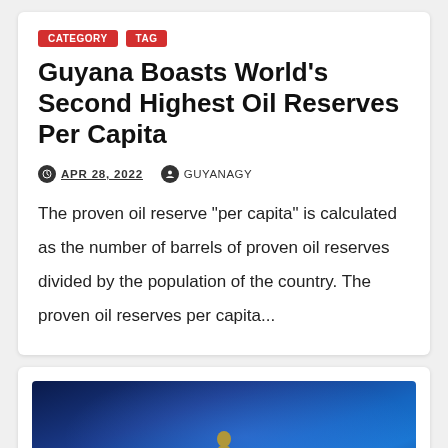Guyana Boasts World’s Second Highest Oil Reserves Per Capita
APR 28, 2022   GUYANAGY
The proven oil reserve "per capita" is calculated as the number of barrels of proven oil reserves divided by the population of the country. The proven oil reserves per capita...
[Figure (photo): Dark blue background photo with a golden statue or figure partially visible at the bottom center, resembling a news article thumbnail image.]